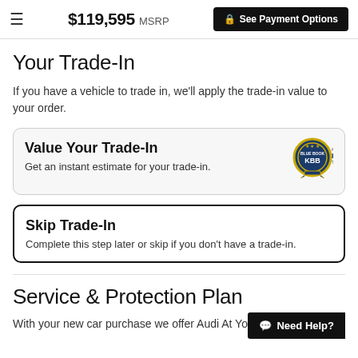≡  $119,595 MSRP  🔒 See Payment Options
Your Trade-In
If you have a vehicle to trade in, we'll apply the trade-in value to your order.
[Figure (infographic): Kelley Blue Book KBB.COM badge/logo with blue seal and ribbon]
Value Your Trade-In
Get an instant estimate for your trade-in.
Skip Trade-In
Complete this step later or skip if you don't have a trade-in.
Service & Protection Plan
With your new car purchase we offer Audi At Your Door pricing
Need Help?